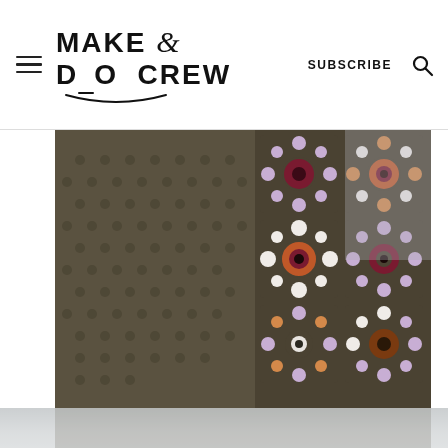Make & Do Crew — SUBSCRIBE [search icon]
[Figure (photo): Close-up photograph of a person wearing a dark olive/brown crochet cardigan featuring granny squares with floral motifs in purple, pink, burgundy, orange, and white on the right side, and a textured mesh stitch on the left sleeve. The background is blurred gray/outdoor setting.]